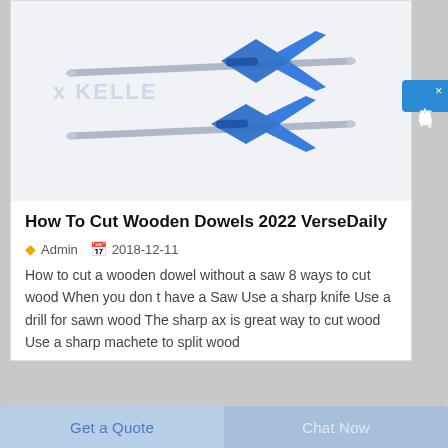[Figure (photo): Two metal dowel center finders/markers with blue diamond-shaped guides on silver rods, shown on a light gray background with a faint KELLER watermark.]
How To Cut Wooden Dowels 2022 VerseDaily
Admin   2018-12-11
How to cut a wooden dowel without a saw 8 ways to cut wood When you don t have a Saw Use a sharp knife Use a drill for sawn wood The sharp ax is great way to cut wood Use a sharp machete to split wood
Get a Quote
Chat Now